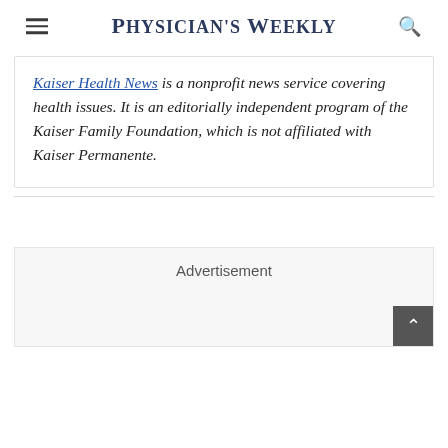Physician's Weekly
Kaiser Health News is a nonprofit news service covering health issues. It is an editorially independent program of the Kaiser Family Foundation, which is not affiliated with Kaiser Permanente.
Advertisement